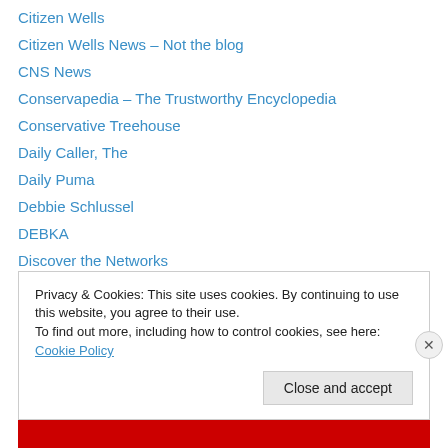Citizen Wells
Citizen Wells News – Not the blog
CNS News
Conservapedia – The Trustworthy Encyclopedia
Conservative Treehouse
Daily Caller, The
Daily Puma
Debbie Schlussel
DEBKA
Discover the Networks
Dr. Kate's View
Flopping Aces
FOX News
Privacy & Cookies: This site uses cookies. By continuing to use this website, you agree to their use.
To find out more, including how to control cookies, see here: Cookie Policy
Close and accept